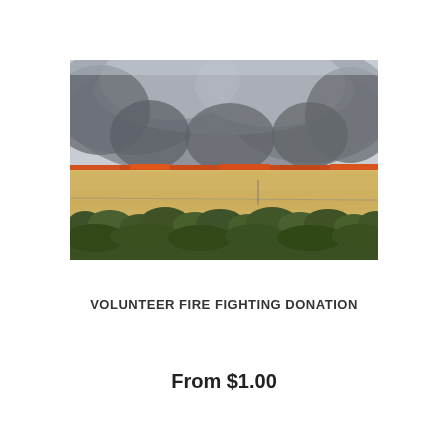[Figure (photo): A wildfire burning across a flat rural landscape. A large wall of dark grey and white smoke billows upward across the upper portion of the image. Below the smoke is a line of red-orange fire burning along the horizon of a dry golden field. Green shrubs and trees are visible in the foreground.]
VOLUNTEER FIRE FIGHTING DONATION
From $1.00